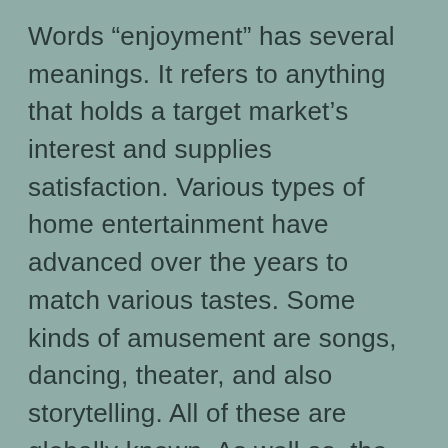Words “enjoyment” has several meanings. It refers to anything that holds a target market’s interest and supplies satisfaction. Various types of home entertainment have advanced over the years to match various tastes. Some kinds of amusement are songs, dancing, theater, and also storytelling. All of these are globally known. As well as, the modern-day industry committed itself to tape-recording and also offering home entertainment products. However, there is no universal meaning for enjoyment. So, what is it?